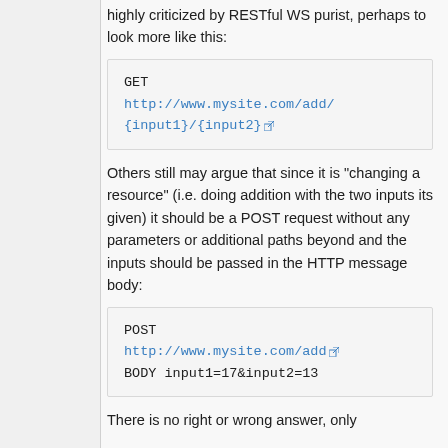highly criticized by RESTful WS purist, perhaps to look more like this:
GET
http://www.mysite.com/add/{input1}/{input2}
Others still may argue that since it is "changing a resource" (i.e. doing addition with the two inputs its given) it should be a POST request without any parameters or additional paths beyond and the inputs should be passed in the HTTP message body:
POST
http://www.mysite.com/add
BODY input1=17&input2=13
There is no right or wrong answer, only